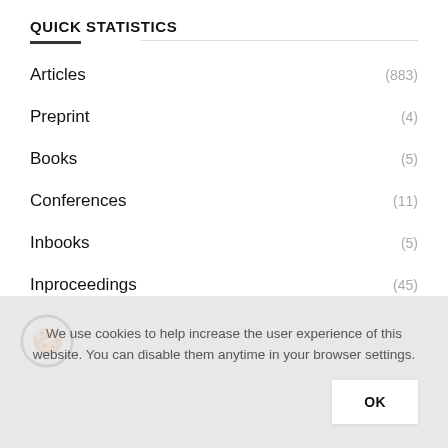QUICK STATISTICS
Articles (883)
Preprint (4)
Books (5)
Conferences (11)
Inbooks (5)
Inproceedings (45)
TOTAL (953)
NOTICE
We use cookies to help increase the user experience of this website. You can disable them anytime in your browser settings.